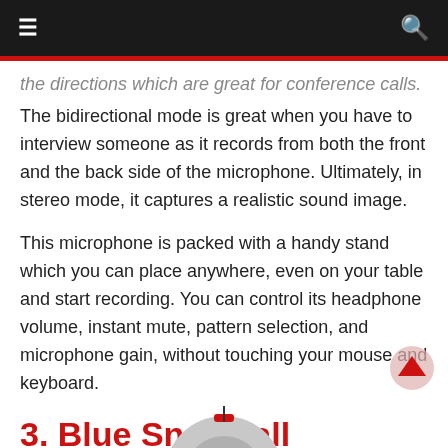≡   🔍
the directions which are great for conference calls. The bidirectional mode is great when you have to interview someone as it records from both the front and the back side of the microphone. Ultimately, in stereo mode, it captures a realistic sound image.
This microphone is packed with a handy stand which you can place anywhere, even on your table and start recording. You can control its headphone volume, instant mute, pattern selection, and microphone gain, without touching your mouse and keyboard.
3. Blue Snowball
[Figure (photo): Partially visible circular microphone at bottom of page]